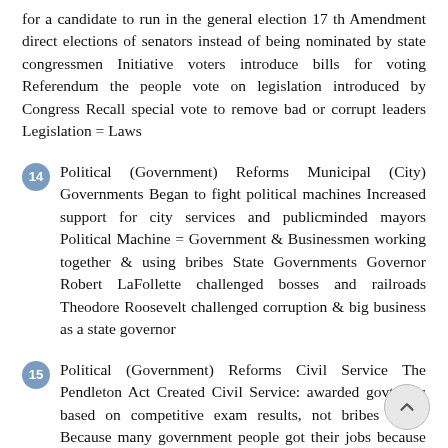for a candidate to run in the general election 17 th Amendment direct elections of senators instead of being nominated by state congressmen Initiative voters introduce bills for voting Referendum the people vote on legislation introduced by Congress Recall special vote to remove bad or corrupt leaders Legislation = Laws
14  Political (Government) Reforms Municipal (City) Governments Began to fight political machines Increased support for city services and publicminded mayors Political Machine = Government & Businessmen working together & using bribes State Governments Governor Robert LaFollette challenged bosses and railroads Theodore Roosevelt challenged corruption & big business as a state governor
15  Political (Government) Reforms Civil Service The Pendleton Act Created Civil Service: awarded govt jobs based on competitive exam results, not bribes Why? Because many government people got their jobs because they bribed the politicians Theodore Roosevelt became the Civil Service Commissioner